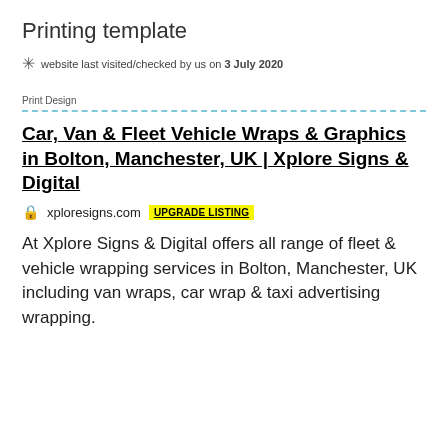Printing template
website last visited/checked by us on 3 July 2020
Print Design
Car, Van & Fleet Vehicle Wraps & Graphics in Bolton, Manchester, UK | Xplore Signs & Digital
xploresigns.com UPGRADE LISTING
At Xplore Signs & Digital offers all range of fleet & vehicle wrapping services in Bolton, Manchester, UK including van wraps, car wrap & taxi advertising wrapping.